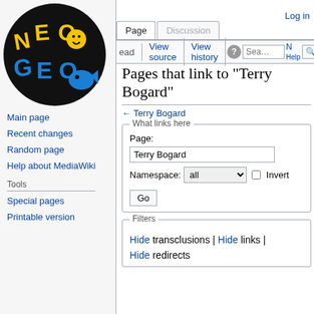[Figure (logo): NeoGeo wiki logo: black circle with yellow NEO and blue GEO text with smiley face]
Main page
Recent changes
Random page
Help about MediaWiki
Tools
Special pages
Printable version
Log in
Pages that link to "Terry Bogard"
← Terry Bogard
What links here
Page: Terry Bogard
Namespace: all  Invert
Go
Filters
Hide transclusions | Hide links |
Hide redirects